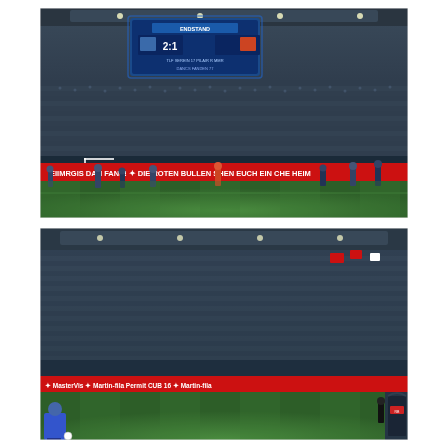[Figure (photo): Football stadium interior photo showing packed stands with thousands of spectators. A large scoreboard at the top shows 'ENDSTAND' with a score. On the pitch, players and staff are visible. A red LED advertising board reads 'DAN FANS! DIE ROTEN BULLEN WÜNSCHEN EUCH EIN CHE HEIM' in white text. The pitch is bright green under stadium lights.]
[Figure (photo): Second football stadium photo showing a wide view of the packed stands from a different angle. In the foreground at lower left, a player in a blue jersey is visible. Red LED advertising boards are visible along the pitch perimeter with sponsor logos including 'MasterVis' and 'Martin-fila'. The stands are filled with supporters.]